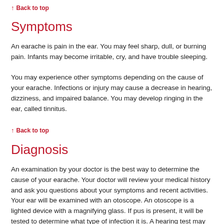↑ Back to top
Symptoms
An earache is pain in the ear.  You may feel sharp, dull, or burning pain.  Infants may become irritable, cry, and have trouble sleeping.
You may experience other symptoms depending on the cause of your earache.  Infections or injury may cause a decrease in hearing, dizziness, and impaired balance.  You may develop ringing in the ear, called tinnitus.
↑ Back to top
Diagnosis
An examination by your doctor is the best way to determine the cause of your earache.  Your doctor will review your medical history and ask you questions about your symptoms and recent activities.
Your ear will be examined with an otoscope.  An otoscope is a lighted device with a magnifying glass.  If pus is present, it will be tested to determine what type of infection it is.  A hearing test may be recommended for children with repeated ear infections.